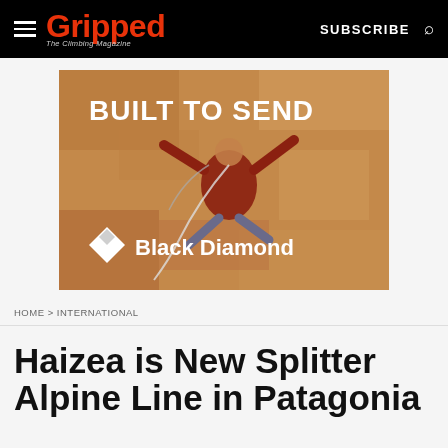Gripped — The Climbing Magazine | SUBSCRIBE
[Figure (photo): Black Diamond advertisement showing a rock climber on an orange sandstone wall, text reads 'BUILT TO SEND' and 'Black Diamond' logo at bottom left]
HOME > INTERNATIONAL
Haizea is New Splitter Alpine Line in Patagonia